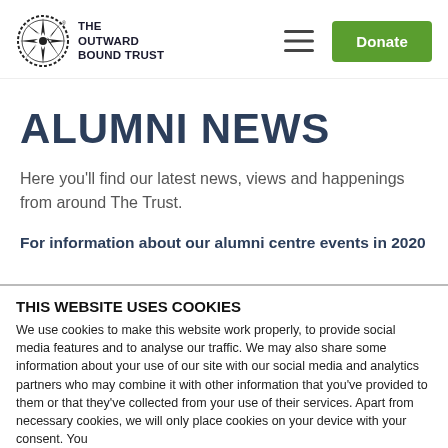[Figure (logo): The Outward Bound Trust logo with compass rose circle and text]
ALUMNI NEWS
Here you'll find our latest news, views and happenings from around The Trust.
For information about our alumni centre events in 2020
THIS WEBSITE USES COOKIES
We use cookies to make this website work properly, to provide social media features and to analyse our traffic. We may also share some information about your use of our site with our social media and analytics partners who may combine it with other information that you've provided to them or that they've collected from your use of their services. Apart from necessary cookies, we will only place cookies on your device with your consent. You